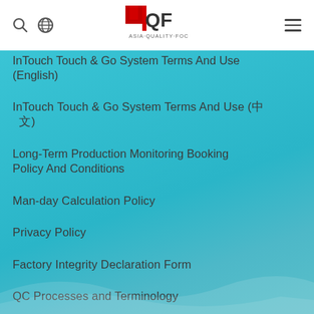4QF Asia Quality Focus — navigation header with search, globe, logo, and menu icons
InTouch Touch & Go System Terms And Use (English)
InTouch Touch & Go System Terms And Use (中文)
Long-Term Production Monitoring Booking Policy And Conditions
Man-day Calculation Policy
Privacy Policy
Factory Integrity Declaration Form
QC Processes and Terminology
Quality Control Services in Asia